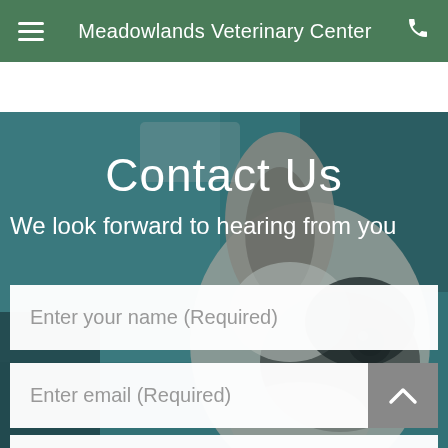Meadowlands Veterinary Center
[Figure (photo): Close-up photo of a black and white dog (appears to be a French Bulldog) looking up, set against a teal/green background. The image serves as the hero background for the Contact Us page.]
Contact Us
We look forward to hearing from you
Enter your name (Required)
Enter email (Required)
(XXX)XXX-XXXX (Required)